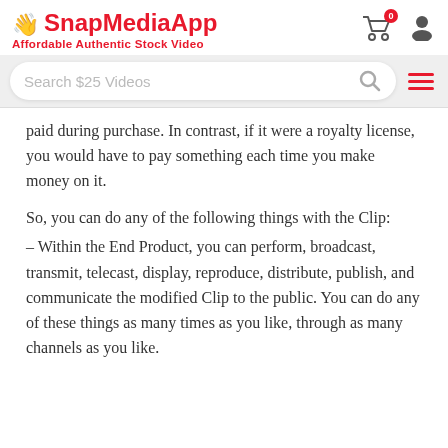SnapMediaApp — Affordable Authentic Stock Video
paid during purchase. In contrast, if it were a royalty license, you would have to pay something each time you make money on it.
So, you can do any of the following things with the Clip:
– Within the End Product, you can perform, broadcast, transmit, telecast, display, reproduce, distribute, publish, and communicate the modified Clip to the public. You can do any of these things as many times as you like, through as many channels as you like.